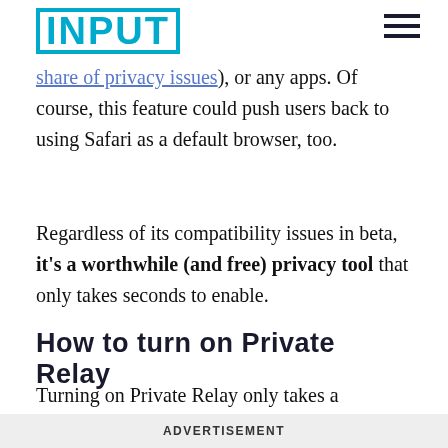INPUT
traffic on other browsers you might be using like Chrome or Firefox, which has its own share of privacy issues), or any apps. Of course, this feature could push users back to using Safari as a default browser, too.
Regardless of its compatibility issues in beta, it's a worthwhile (and free) privacy tool that only takes seconds to enable.
How to turn on Private Relay
Turning on Private Relay only takes a moment. The feature is connected to your iCloud account, so once you switch it on, it should be active across all of your Apple devices.
ADVERTISEMENT